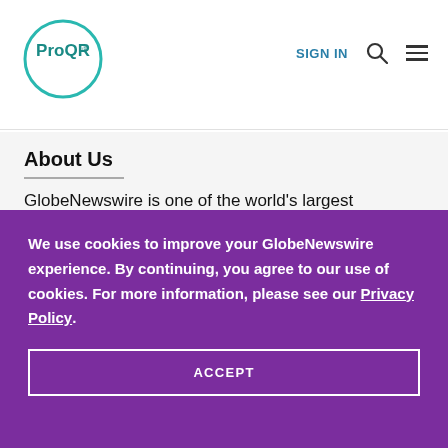ProQR | SIGN IN
About Us
GlobeNewswire is one of the world's largest newswire distribution networks, specializing in the
We use cookies to improve your GlobeNewswire experience. By continuing, you agree to our use of cookies. For more information, please see our Privacy Policy.
ACCEPT